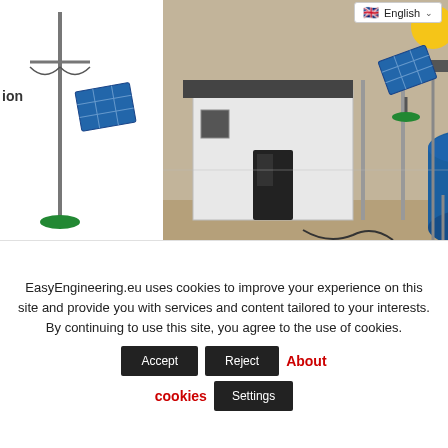[Figure (screenshot): Language selector dropdown showing English with UK flag]
[Figure (photo): Water pump station building with blue and black water tanks in an outdoor setting]
ion
ATER IN
WATER
r
Water
Drinking Wa
E.E: What's the news for 2021 about new products?
GRINO: We have commissioned our pilot
EasyEngineering.eu uses cookies to improve your experience on this site and provide you with services and content tailored to your interests. By continuing to use this site, you agree to the use of cookies. Accept Reject About cookies Settings